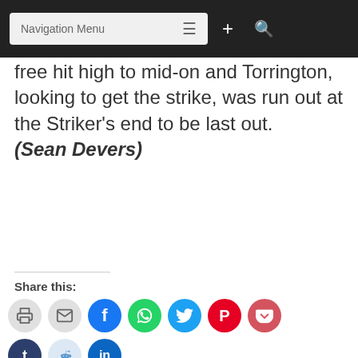Navigation Menu
free hit high to mid-on and Torrington, looking to get the strike, was run out at the Striker’s end to be last out. (Sean Devers)
Share this:
[Figure (other): Social sharing icons: print, email, Facebook, WhatsApp, Twitter, Pinterest, Pocket, Tumblr, Reddit, LinkedIn]
Related
Wilson’s ton, Nanan’ 5-for, power DCC to emphatic win over MSC at
GCA’s NYTS 50-over U-19 Semi-finals… MSC face-off with DCC in